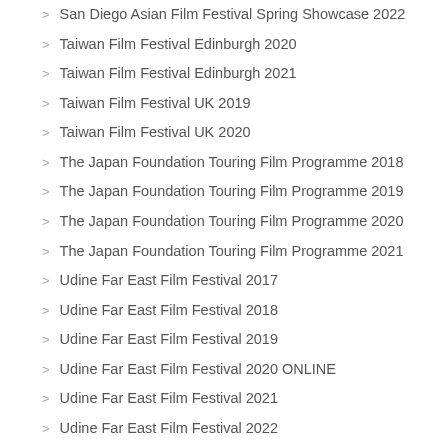San Diego Asian Film Festival Spring Showcase 2022
Taiwan Film Festival Edinburgh 2020
Taiwan Film Festival Edinburgh 2021
Taiwan Film Festival UK 2019
Taiwan Film Festival UK 2020
The Japan Foundation Touring Film Programme 2018
The Japan Foundation Touring Film Programme 2019
The Japan Foundation Touring Film Programme 2020
The Japan Foundation Touring Film Programme 2021
Udine Far East Film Festival 2017
Udine Far East Film Festival 2018
Udine Far East Film Festival 2019
Udine Far East Film Festival 2020 ONLINE
Udine Far East Film Festival 2021
Udine Far East Film Festival 2022
Yubari International Fantastic Film Festival 2021
Hong Kong
Indonesia
Japan